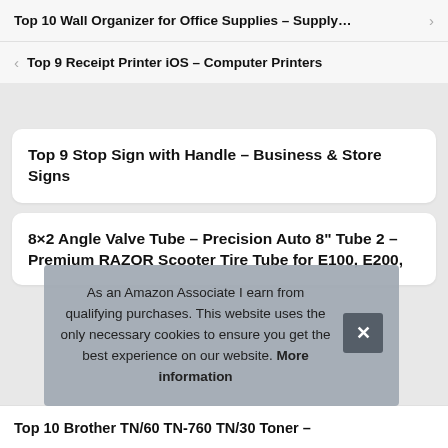Top 10 Wall Organizer for Office Supplies – Supply…
Top 9 Receipt Printer iOS – Computer Printers
Top 9 Stop Sign with Handle – Business & Store Signs
8×2 Angle Valve Tube – Precision Auto 8" Tube 2 – Premium RAZOR Scooter Tire Tube for E100, E200,
As an Amazon Associate I earn from qualifying purchases. This website uses the only necessary cookies to ensure you get the best experience on our website. More information
Top 10 Brother TN/60 TN-760 TN/30 Toner –